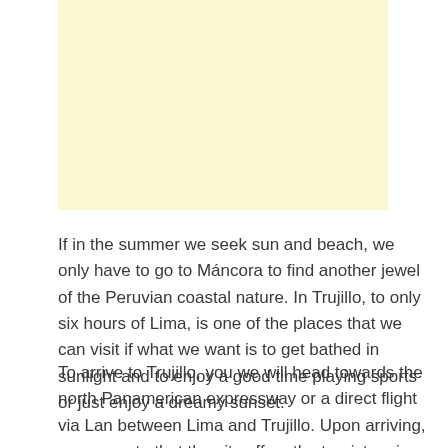[Figure (illustration): Light yellow/cream colored rectangular placeholder image area]
If in the summer we seek sun and beach, we only have to go to Máncora to find another jewel of the Peruvian coastal nature. In Trujillo, to only six hours of Lima, is one of the places that we can visit if what we want is to get bathed in sunlight and to enjoy a good time playing sports or just enjoy a dreamy sunset.
To arrive to Trujillo, you we will head towards the north Panamerican expressway or a direct flight via Lan between Lima and Trujillo. Upon arriving, we can note that the city offers the tourist various number of options, that range from beaches to architectural remainders of great